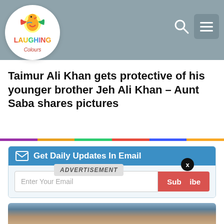[Figure (logo): Laughing Colours logo: circular white background with colorful bird/figure icon, text 'LAUGHING Colours' in colorful letters]
Taimur Ali Khan gets protective of his younger brother Jeh Ali Khan – Aunt Saba shares pictures
Get Daily Updates In Email
Enter Your Email
ADVERTISEMENT
Subscribe
[Figure (photo): Photo of a child (Taimur Ali Khan) with brown hair, partial face visible at bottom of page]